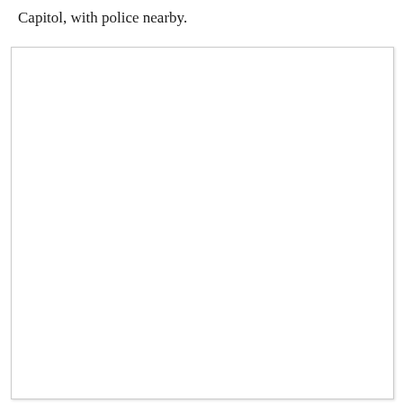Capitol, with police nearby.
[Figure (photo): A large white/blank photograph area, bordered with a light gray box shadow, positioned below the caption text. The photo content is not visible (appears blank/white).]